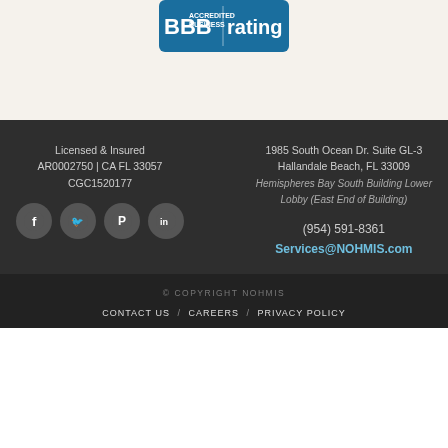[Figure (logo): BBB Accredited Business rating badge in blue and white]
Licensed & Insured
AR0002750 | CA FL 33057
CGC1520177
1985 South Ocean Dr. Suite GL-3
Hallandale Beach, FL 33009
Hemispheres Bay South Building Lower Lobby (East End of Building)
[Figure (illustration): Row of four social media icons: Facebook, Twitter, Pinterest, LinkedIn]
(954) 591-8361
Services@NOHMIS.com
© COPYRIGHT NOHMIS
CONTACT US / CAREERS / PRIVACY POLICY